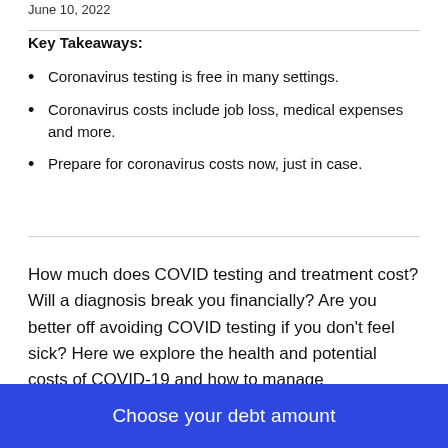June 10, 2022
Key Takeaways:
Coronavirus testing is free in many settings.
Coronavirus costs include job loss, medical expenses and more.
Prepare for coronavirus costs now, just in case.
How much does COVID testing and treatment cost? Will a diagnosis break you financially? Are you better off avoiding COVID testing if you don't feel sick? Here we explore the health and potential costs of COVID-19 and how to manage
Choose your debt amount